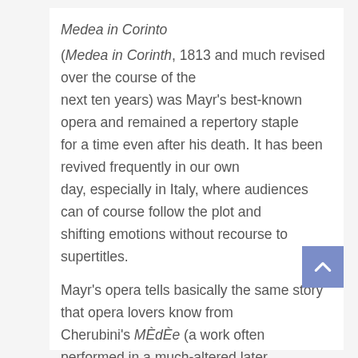Medea in Corinto
(Medea in Corinth, 1813 and much revised over the course of the next ten years) was Mayr's best-known opera and remained a repertory staple for a time even after his death. It has been revived frequently in our own day, especially in Italy, where audiences can of course follow the plot and shifting emotions without recourse to supertitles.
Mayr's opera tells basically the same story that opera lovers know from Cherubini's MÈdÈe (a work often performed in a much-altered later version and in Italian, under the title Medea). But the treatment of the Medea legend by Mayr and his librettist, the